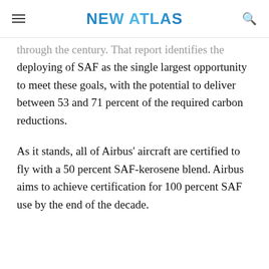NEW ATLAS
through the century. That report identifies the deploying of SAF as the single largest opportunity to meet these goals, with the potential to deliver between 53 and 71 percent of the required carbon reductions.
As it stands, all of Airbus' aircraft are certified to fly with a 50 percent SAF-kerosene blend. Airbus aims to achieve certification for 100 percent SAF use by the end of the decade.